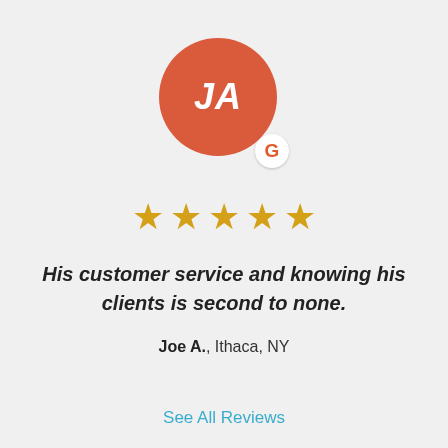[Figure (illustration): Circular avatar with initials 'JA' in white italic bold text on a coral/red-orange background, with a small white circular Google badge (orange G) in the bottom-right corner]
[Figure (infographic): Five gold star rating icons in a row]
His customer service and knowing his clients is second to none.
Joe A., Ithaca, NY
See All Reviews